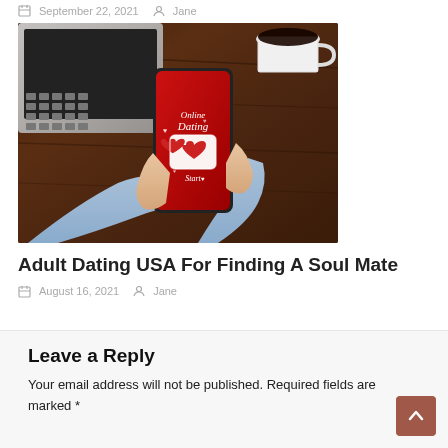September 22, 2021   Jane
[Figure (photo): Person holding a smartphone with 'Online Dating' app displayed on red screen, on a wooden desk with laptop keyboard and coffee cup visible]
Adult Dating USA For Finding A Soul Mate
August 16, 2021   Jane
Leave a Reply
Your email address will not be published. Required fields are marked *